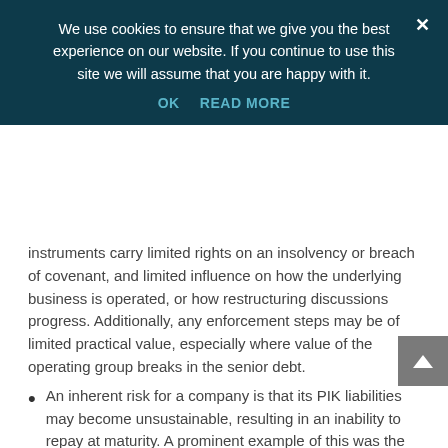We use cookies to ensure that we give you the best experience on our website. If you continue to use this site we will assume that you are happy with it.
OK   READ MORE
instruments carry limited rights on an insolvency or breach of covenant, and limited influence on how the underlying business is operated, or how restructuring discussions progress. Additionally, any enforcement steps may be of limited practical value, especially where value of the operating group breaks in the senior debt.
An inherent risk for a company is that its PIK liabilities may become unsustainable, resulting in an inability to repay at maturity. A prominent example of this was the failure of retail fashion brand Peacocks, which issued PIK notes at 17.2% per annum, leading to a significant PIK liability. By the time of its administration in 2012, over half (£400m) of its £750m total debt was attributable to